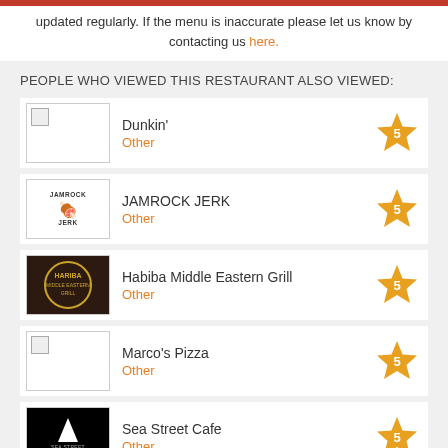updated regularly. If the menu is inaccurate please let us know by contacting us here.
PEOPLE WHO VIEWED THIS RESTAURANT ALSO VIEWED:
Dunkin' | Other | Rating: 5
JAMROCK JERK | Other | Rating: 5
Habiba Middle Eastern Grill | Other | Rating: 5
Marco's Pizza | Other | Rating: 5
Sea Street Cafe | Other | Rating: 5
NEARBY RESTAURANTS: